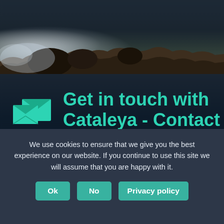[Figure (photo): Dark atmospheric outdoor photo showing rocks/debris silhouette with misty/smoky background, dark sky]
Get in touch with Cataleya - Contact Us Today!
We use cookies to ensure that we give you the best experience on our website. If you continue to use this site we will assume that you are happy with it.
Ok | No | Privacy policy